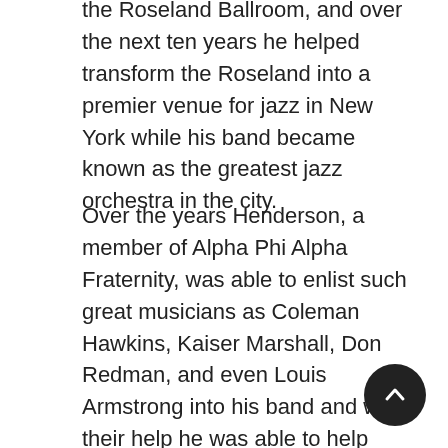the Roseland Ballroom, and over the next ten years he helped transform the Roseland into a premier venue for jazz in New York while his band became known as the greatest jazz orchestra in the city.
Over the years Henderson, a member of Alpha Phi Alpha Fraternity, was able to enlist such great musicians as Coleman Hawkins, Kaiser Marshall, Don Redman, and even Louis Armstrong into his band and with their help he was able to help develop jazz big band as it is known today.  In the 1930s Henderson's band began to come apart, and in 1939 Henderson was forced to give it up and become a music arranger for Benny Goodman.  Although he attempted to lead